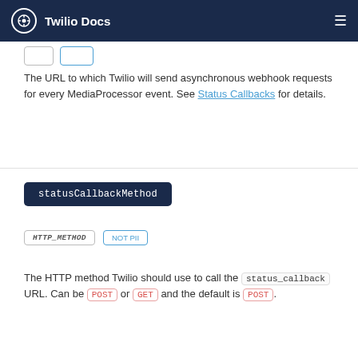Twilio Docs
The URL to which Twilio will send asynchronous webhook requests for every MediaProcessor event. See Status Callbacks for details.
statusCallbackMethod
HTTP_METHOD   NOT PII
The HTTP method Twilio should use to call the status_callback URL. Can be POST or GET and the default is POST.